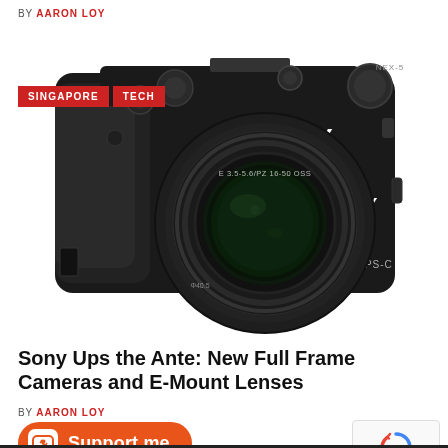BY AARON LOY
[Figure (photo): Sony Alpha mirrorless camera with E 3.5-5.6/PZ 16-50 OSS lens, black body, front view showing SONY logo and alpha symbol, APS-C label visible]
SINGAPORE   TECH
Sony Ups the Ante: New Full Frame Cameras and E-Mount Lenses
BY AARON LOY
[Figure (other): Ko-fi Support me button, orange rounded rectangle with coffee cup icon and heart]
[Figure (other): reCAPTCHA widget with Privacy and Terms text]